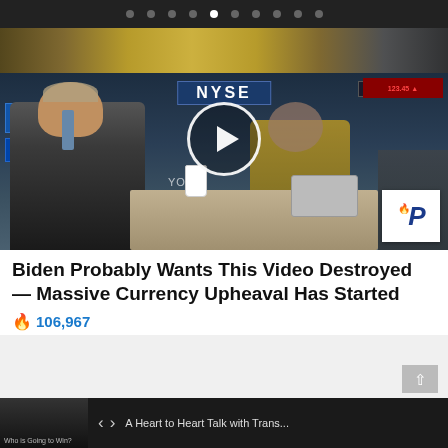[Figure (screenshot): Carousel navigation dots bar at top, white dot indicating active slide]
[Figure (screenshot): Video thumbnail showing NYSE trading floor with two people seated at a desk, a play button overlay in the center, 'NYSE' sign visible, and an iP logo watermark in the bottom right corner]
Biden Probably Wants This Video Destroyed — Massive Currency Upheaval Has Started
🔥 106,967
[Figure (screenshot): Bottom navigation strip showing another video thumbnail with text 'Who is Going to Win?' and navigation arrows with caption 'A Heart to Heart Talk with Trans...']